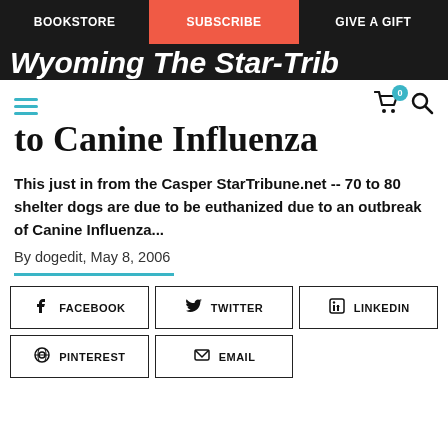BOOKSTORE | SUBSCRIBE | GIVE A GIFT
to Canine Influenza
This just in from the Casper StarTribune.net -- 70 to 80 shelter dogs are due to be euthanized due to an outbreak of Canine Influenza...
By dogedit, May 8, 2006